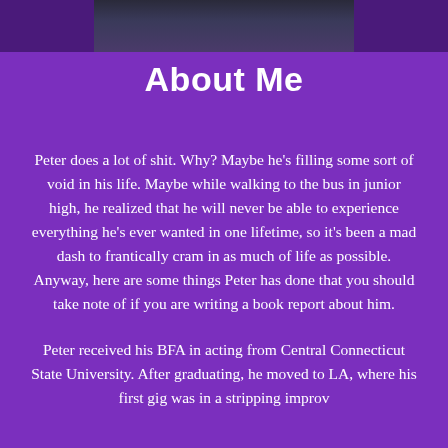[Figure (photo): Partial photo strip at top of page showing a dark image]
About Me
Peter does a lot of shit. Why? Maybe he's filling some sort of void in his life. Maybe while walking to the bus in junior high, he realized that he will never be able to experience everything he's ever wanted in one lifetime, so it's been a mad dash to frantically cram in as much of life as possible. Anyway, here are some things Peter has done that you should take note of if you are writing a book report about him.
Peter received his BFA in acting from Central Connecticut State University. After graduated, he moved to LA, where his first gig was in a stripping improv